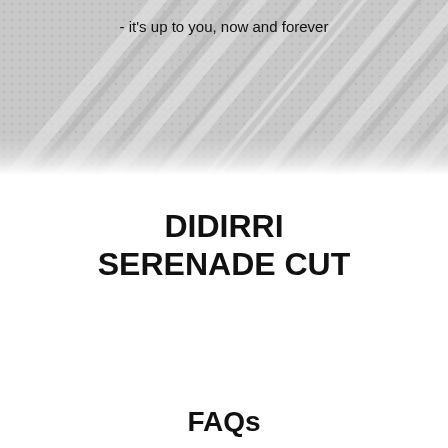[Figure (illustration): Decorative banner with diagonal stripes and halftone dot pattern in grey tones]
- it's up to you, now and forever
DIDIRRI
SERENADE CUT
FAQs